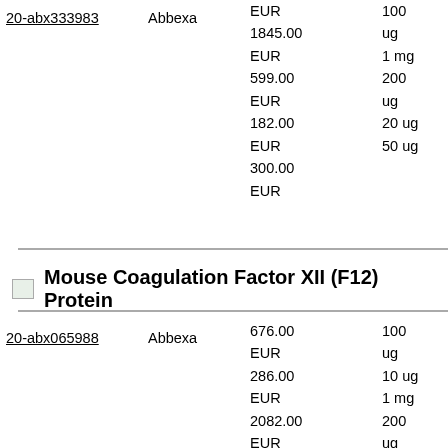| ID | Supplier | Price | Quantity |
| --- | --- | --- | --- |
| 20-abx333983 | Abbexa | EUR
1845.00
EUR
599.00
EUR
182.00
EUR
300.00
EUR | 100
ug
1 mg
200
ug
20 ug
50 ug |
Mouse Coagulation Factor XII (F12) Protein
| ID | Supplier | Price | Quantity |
| --- | --- | --- | --- |
| 20-abx065988 | Abbexa | 676.00
EUR
286.00
EUR
2082.00
EUR
801.00
EUR | 100
ug
10 ug
1 mg
200
ug |